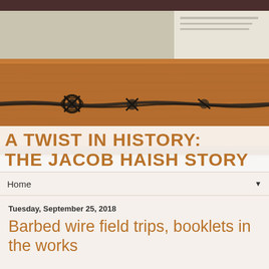[Figure (photo): Close-up photograph of vintage barbed wire attached to a wooden beam/plank, displayed as a museum exhibit against a light background]
A TWIST IN HISTORY: THE JACOB HAISH STORY
Home
Tuesday, September 25, 2018
Barbed wire field trips, booklets in the works